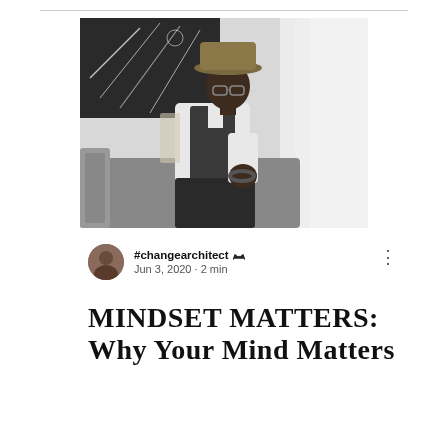[Figure (photo): A well-dressed Black man wearing a wide-brim olive/tan fedora hat, glasses, a white dress shirt, dark vest, and beaded bracelet, seated on a gray couch and looking pensively to the side. Behind him is a black-and-white abstract artwork and sheer white curtains with bright light coming through a window.]
#changearchitect 👑 Jun 3, 2020 · 2 min
MINDSET MATTERS: Why Your Mind Matters